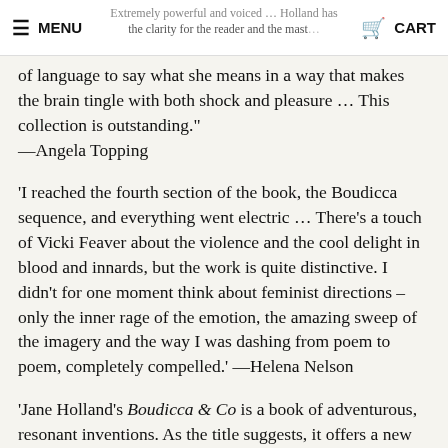MENU | [nav center text: Extremely powerful and voiced … Holland has the clarity for the reader and the mastery…] | CART
of language to say what she means in a way that makes the brain tingle with both shock and pleasure … This collection is outstanding." —Angela Topping
'I reached the fourth section of the book, the Boudicca sequence, and everything went electric … There's a touch of Vicki Feaver about the violence and the cool delight in blood and innards, but the work is quite distinctive. I didn't for one moment think about feminist directions – only the inner rage of the emotion, the amazing sweep of the imagery and the way I was dashing from poem to poem, completely compelled.' —Helena Nelson
'Jane Holland's Boudicca & Co is a book of adventurous, resonant inventions. As the title suggests, it offers a new view from the interior – of both country and psyche – in which history and geography are co-opted in effortless interplay. It's a work of synthesis…